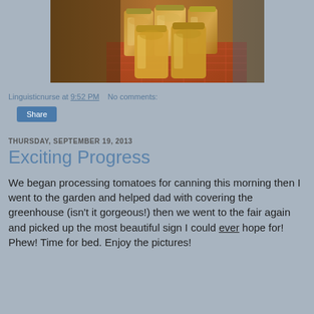[Figure (photo): Photograph of multiple glass mason jars filled with canned tomatoes or peaches, arranged on a table with a red checkered cloth.]
Linguisticnurse at 9:52 PM   No comments:
Share
THURSDAY, SEPTEMBER 19, 2013
Exciting Progress
We began processing tomatoes for canning this morning then I went to the garden and helped dad with covering the greenhouse (isn't it gorgeous!) then we went to the fair again and picked up the most beautiful sign I could ever hope for! Phew! Time for bed. Enjoy the pictures!